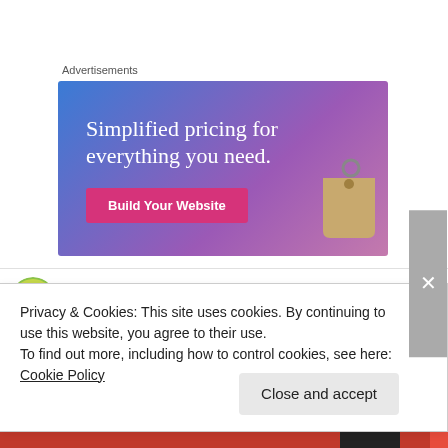Advertisements
[Figure (illustration): Advertisement banner with blue-purple gradient background, text 'Simplified pricing for everything you need.', a pink 'Build Your Website' button, and a price tag illustration on the right.]
David on October 24, 2012 at 9:49 pm
Privacy & Cookies: This site uses cookies. By continuing to use this website, you agree to their use.
To find out more, including how to control cookies, see here: Cookie Policy
Close and accept